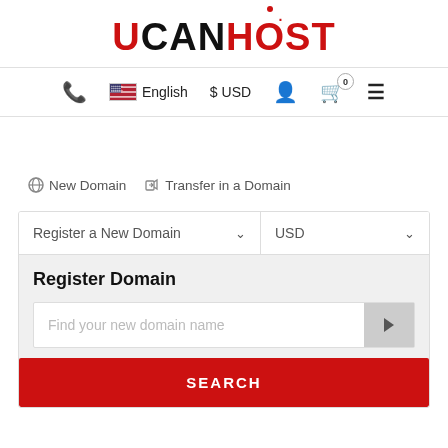[Figure (logo): UCANHOST logo with red U and red O dot]
Phone  English  $ USD  User  Cart (0)  Menu
New Domain  Transfer in a Domain
Register a New Domain  USD
Register Domain
Find your new domain name
SEARCH